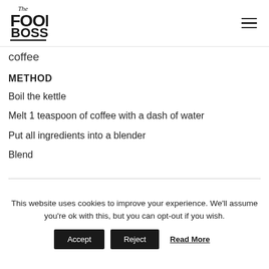The Food Boss (logo) [hamburger menu]
coffee
METHOD
Boil the kettle
Melt 1 teaspoon of coffee with a dash of water
Put all ingredients into a blender
Blend
This website uses cookies to improve your experience. We'll assume you're ok with this, but you can opt-out if you wish.
Accept | Reject | Read More